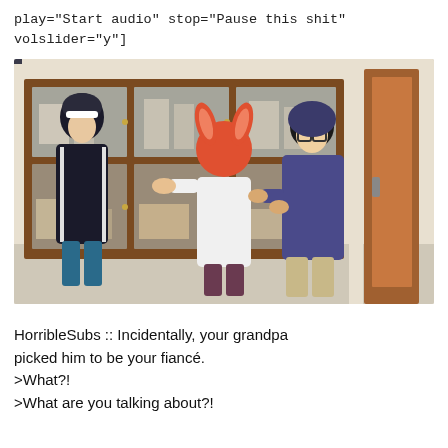play="Start audio" stop="Pause this shit" volslider="y"]
[Figure (illustration): Anime screenshot showing three characters in a room with wooden cabinets. A male character in a dark hoodie stands on the left, a female character with red/orange hair and rabbit-like ears wearing a white outfit faces away in the center, and another female character with dark hair and glasses wearing a purple hoodie stands on the right.]
HorribleSubs :: Incidentally, your grandpa picked him to be your fiancé.
>What?!
>What are you talking about?!